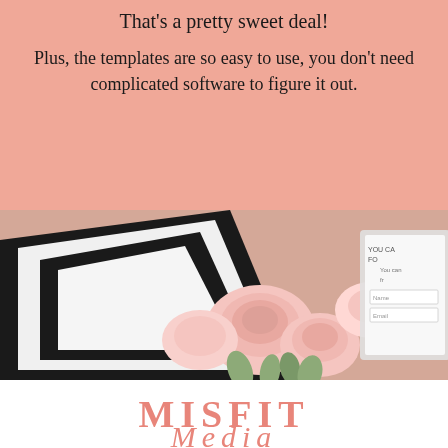That's a pretty sweet deal!
Plus, the templates are so easy to use, you don't need complicated software to figure it out.
[Figure (photo): Flatlay photo showing a tablet/laptop with bold black and white geometric design, pink roses in the center, and what appears to be a sign-up form on the right side with fields for Name and Email]
[Figure (logo): MISFIT logo in coral/salmon pink color with italic script text below]